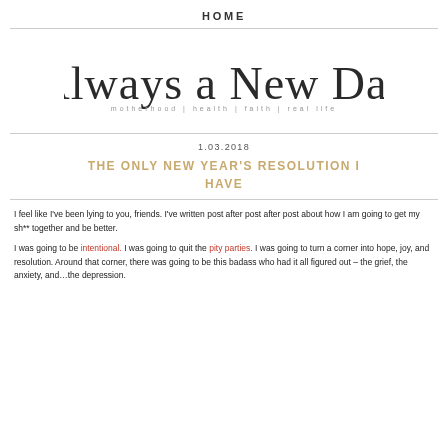HOME
[Figure (logo): Cursive script logo reading 'Always a New Day' with tagline 'motherhood | health | faith | real life']
1.03.2018
THE ONLY NEW YEAR'S RESOLUTION I HAVE
I feel like I've been lying to you, friends. I've written post after post after post about how I am going to get my sh** together and be better.
I was going to be intentional. I was going to quit the pity parties. I was going to turn a corner into hope, joy, and resolution. Around that corner, there was going to be this badass who had it all figured out – the grief, the anxiety, and…the depression.